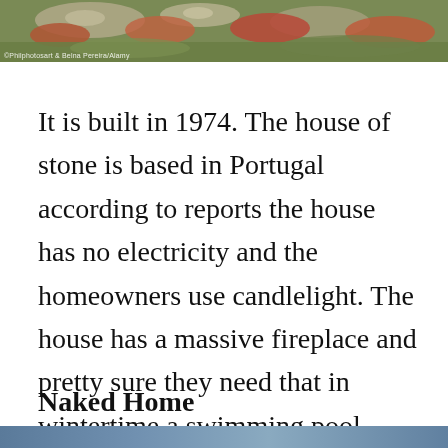[Figure (photo): Landscape photo showing rocks, reddish-brown shrubs or heather, and grassy vegetation with a photo credit watermark at bottom left.]
It is built in 1974. The house of stone is based in Portugal according to reports the house has no electricity and the homeowners use candlelight. The house has a massive fireplace and pretty sure they need that in wintertime a swimming pool carved into the stone.
Naked Home
[Figure (photo): Partial photo visible at the bottom edge of the page — appears to show a blue-toned outdoor or water scene.]